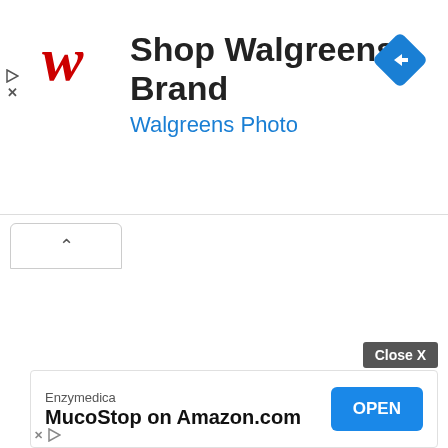[Figure (screenshot): Walgreens brand advertisement banner with red cursive W logo, title 'Shop Walgreens Brand', subtitle 'Walgreens Photo' in blue, and a blue diamond navigation arrow icon on the right]
[Figure (screenshot): Browser UI tab with up-chevron arrow button]
[Figure (screenshot): Bottom advertisement for Enzymedica MucoStop on Amazon.com with Close X button and blue OPEN button]